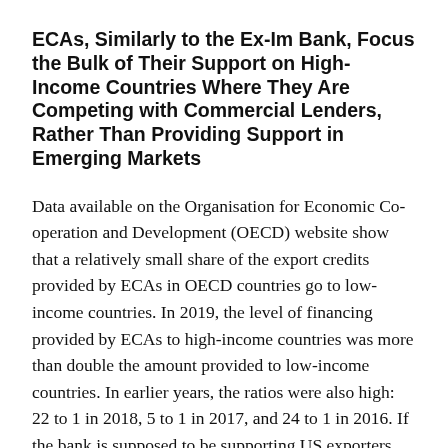ECAs, Similarly to the Ex-Im Bank, Focus the Bulk of Their Support on High-Income Countries Where They Are Competing with Commercial Lenders, Rather Than Providing Support in Emerging Markets
Data available on the Organisation for Economic Co-operation and Development (OECD) website show that a relatively small share of the export credits provided by ECAs in OECD countries go to low-income countries. In 2019, the level of financing provided by ECAs to high-income countries was more than double the amount provided to low-income countries. In earlier years, the ratios were also high: 22 to 1 in 2018, 5 to 1 in 2017, and 24 to 1 in 2016. If the bank is supposed to be supporting US exporters competing against Chinese firms, as it claims